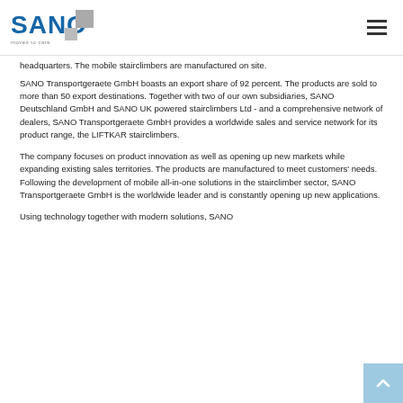[Figure (logo): SANO logo with tagline 'moves to care']
headquarters. The mobile stairclimbers are manufactured on site.
SANO Transportgeraete GmbH boasts an export share of 92 percent. The products are sold to more than 50 export destinations. Together with two of our own subsidiaries, SANO Deutschland GmbH and SANO UK powered stairclimbers Ltd - and a comprehensive network of dealers, SANO Transportgeraete GmbH provides a worldwide sales and service network for its product range, the LIFTKAR stairclimbers.
The company focuses on product innovation as well as opening up new markets while expanding existing sales territories. The products are manufactured to meet customers' needs. Following the development of mobile all-in-one solutions in the stairclimber sector, SANO Transportgeraete GmbH is the worldwide leader and is constantly opening up new applications.
Using technology together with modern solutions, SANO